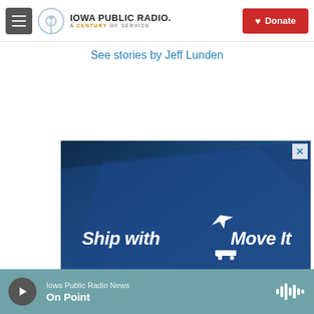Iowa Public Radio — A Century of Service | Donate
See stories by Jeff Lunden
[Figure (screenshot): Advertisement for 'Ship with Move It' shipping company, showing a blue-tinted blurred image of a truck/trailer with white italic text 'Ship with Move It' and a crescent moon-like logo with an airplane silhouette above.]
Iowa Public Radio News — On Point